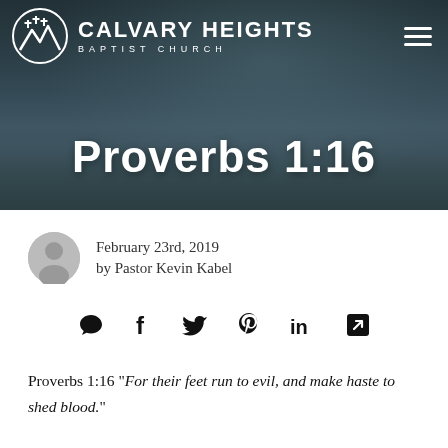[Figure (photo): Hero banner image showing feet/shoes walking on pavement with dark teal overlay, Calvary Heights Baptist Church logo and navigation in white at top]
Proverbs 1:16
February 23rd, 2019
by Pastor Kevin Kabel
[Figure (infographic): Social sharing icons row: speech bubble, Facebook f, Twitter bird, Pinterest P, LinkedIn in, share/external link arrow]
Proverbs 1:16 "For their feet run to evil, and make haste to shed blood."